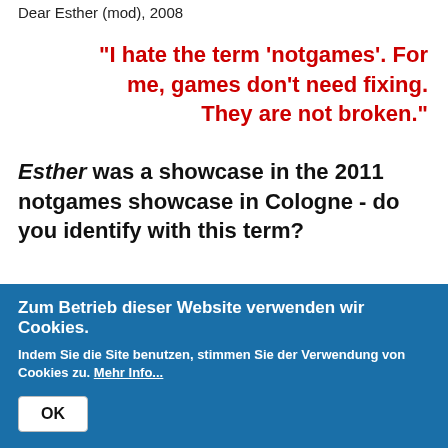Dear Esther (mod), 2008
"I hate the term 'notgames'. For me, games don't need fixing. They are not broken."
Esther was a showcase in the 2011 notgames showcase in Cologne - do you identify with this term?
Zum Betrieb dieser Website verwenden wir Cookies. Indem Sie die Site benutzen, stimmen Sie der Verwendung von Cookies zu. Mehr Info... OK